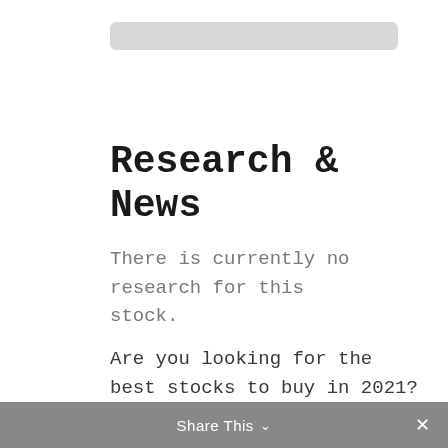[Figure (other): Gray rounded rectangle placeholder bar at top of page]
Research & News
There is currently no research for this stock.
Are you looking for the best stocks to buy in 2021? We’ve put together a free report on 5 stocks that we think are the best buys on the ASX right now. Download it instantly here.
Share This ∨ ×